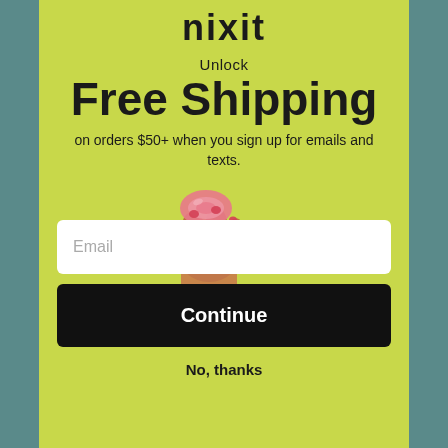nixit
Unlock
Free Shipping
on orders $50+ when you sign up for emails and texts.
[Figure (illustration): A hand holding a pink menstrual disc product, shown from below with arm extending downward]
Email
Continue
No, thanks